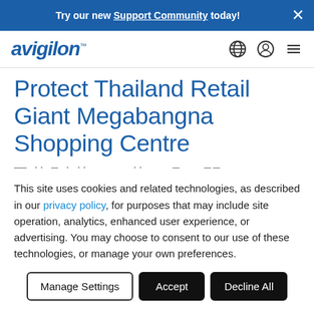Try our new Support Community today!
[Figure (logo): Avigilon logo with globe, user, and menu icons in navigation bar]
Protect Thailand Retail Giant Megabangna Shopping Centre
This site uses cookies and related technologies, as described in our privacy policy, for purposes that may include site operation, analytics, enhanced user experience, or advertising. You may choose to consent to our use of these technologies, or manage your own preferences.
Manage Settings | Accept | Decline All